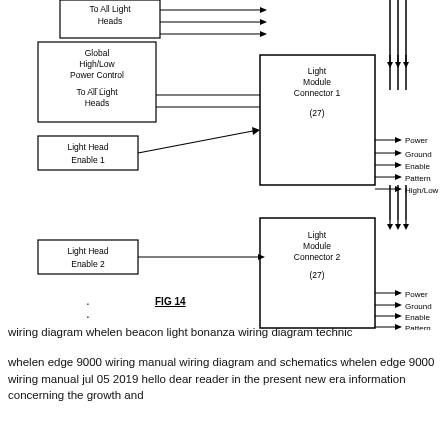[Figure (schematic): Wiring schematic diagram labeled FIG 14 showing Light Head Enable 1, 2, and n connecting to Light Module Connector 1, 2, and n (each with 27 pins), with outputs for Power, Ground, Enable, Pattern, High/Low. Global High/Low Power Control connects to all light heads via arrows. Vertical dots indicate continuation between units.]
FIG 14
wiring diagram whelen beacon light bonanza wiring diagram technic
whelen edge 9000 wiring manual wiring diagram and schematics whelen edge 9000 wiring manual jul 05 2019 hello dear reader in the present new era information concerning the growth and